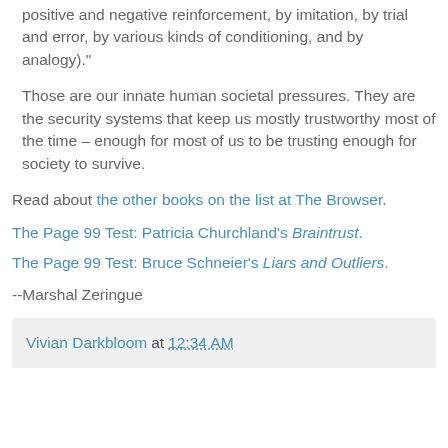positive and negative reinforcement, by imitation, by trial and error, by various kinds of conditioning, and by analogy)."
Those are our innate human societal pressures. They are the security systems that keep us mostly trustworthy most of the time – enough for most of us to be trusting enough for society to survive.
Read about the other books on the list at The Browser.
The Page 99 Test: Patricia Churchland's Braintrust.
The Page 99 Test: Bruce Schneier's Liars and Outliers.
--Marshal Zeringue
Vivian Darkbloom at 12:34 AM